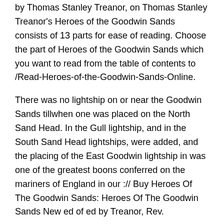by Thomas Stanley Treanor, on Thomas Stanley Treanor's Heroes of the Goodwin Sands consists of 13 parts for ease of reading. Choose the part of Heroes of the Goodwin Sands which you want to read from the table of contents to /Read-Heroes-of-the-Goodwin-Sands-Online.
There was no lightship on or near the Goodwin Sands tillwhen one was placed on the North Sand Head. In the Gull lightship, and in the South Sand Head lightships, were added, and the placing of the East Goodwin lightship in was one of the greatest boons conferred on the mariners of England in our :// Buy Heroes Of The Goodwin Sands: Heroes Of The Goodwin Sands New ed of ed by Treanor, Rev.
Thomas Stanley (ISBN: ) from Amazon's Book Store. Everyday low prices and free delivery on eligible  › Society, Politics & Philosophy › Social Sciences › Social Issues. Illustrated with 24 engravings, including many full page.
A very good copy of this scarce book which continues the history of the Deal boatmen and the Goodwin Sands begun in the first, and very popular work, by the Rev. Thomas Stanley Treanor () and very popular work, Heroes of the Goodwin Sands Heroes of the Goodwin Sands